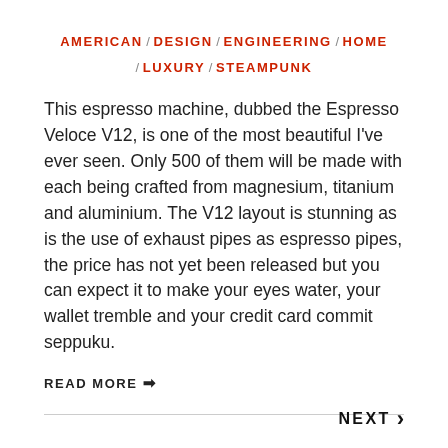AMERICAN / DESIGN / ENGINEERING / HOME / LUXURY / STEAMPUNK
This espresso machine, dubbed the Espresso Veloce V12, is one of the most beautiful I've ever seen. Only 500 of them will be made with each being crafted from magnesium, titanium and aluminium. The V12 layout is stunning as is the use of exhaust pipes as espresso pipes, the price has not yet been released but you can expect it to make your eyes water, your wallet tremble and your credit card commit seppuku.
READ MORE ➡